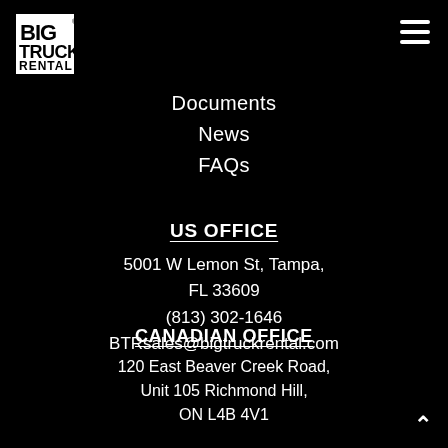[Figure (logo): Big Truck Rental logo in white on black background]
Documents
News
FAQs
US OFFICE
5001 W Lemon St, Tampa, FL 33609
(813) 302-1646
BTRsales@bigtruckrental.com
CANADIAN OFFICE
120 East Beaver Creek Road, Unit 105 Richmond Hill, ON L4B 4V1
(844) 751-1177
BTRsales@bigtruckrental.com